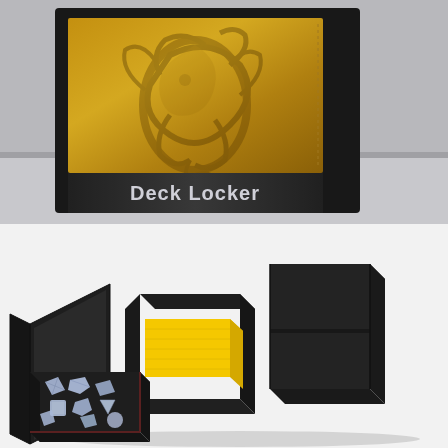[Figure (photo): Product packaging photo showing a Deck Locker box with a yellow leatherette surface embossed with a dragon design, framed in a black display box. The bottom label bar reads 'Deck Locker' in silver/white text on a dark patterned background.]
[Figure (photo): Product open/in-use photo showing the Deck Locker opened, revealing a black leatherette deck box with a yellow sleeved card deck inside, and a separate dice tray compartment in the foreground containing polyhedral dice.]